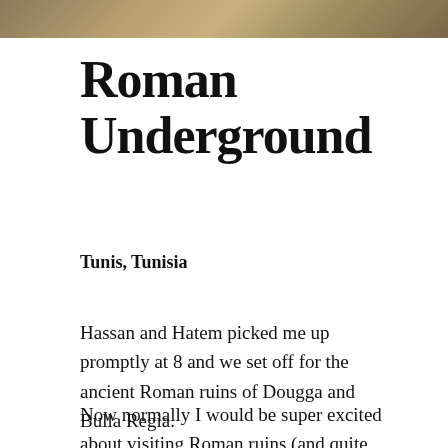[Figure (photo): Partial photo strip at top of page showing people outdoors]
Roman Underground
Tunis, Tunisia
Hassan and Hatem picked me up promptly at 8 and we set off for the ancient Roman ruins of Dougga and Bulla Regia.
Now normally I would be super excited about visiting Roman ruins (and quite frankly I was),